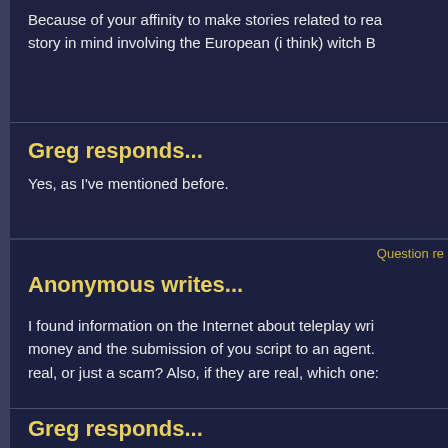Because of your affinity to make stories related to rea story in mind involving the European (i think) witch B
Greg responds...
Yes, as I've mentioned before.
Question re
Anonymous writes...
I found information on the Internet about teleplay wri money and the submission of you script to an agent. real, or just a scam? Also, if they are real, which one:
Greg responds...
I have no idea about any of this.